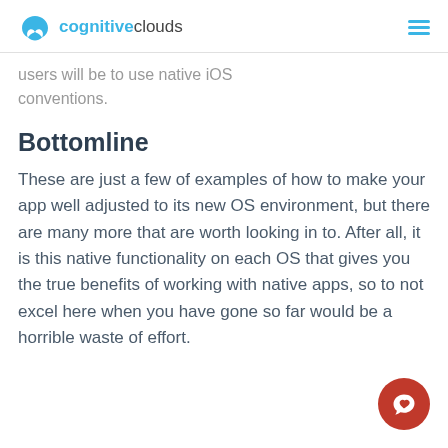cognitiveclouds
users will be to use native iOS conventions.
Bottomline
These are just a few of examples of how to make your app well adjusted to its new OS environment, but there are many more that are worth looking in to. After all, it is this native functionality on each OS that gives you the true benefits of working with native apps, so to not excel here when you have gone so far would be a horrible waste of effort.